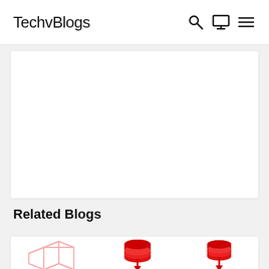TechvBlogs
[Figure (other): White content card placeholder area]
Related Blogs
[Figure (illustration): Three icons: a pink 3D box outline, a red database cylinder with a red arrow pointing down into a box, and a red database cylinder with a red arrow]